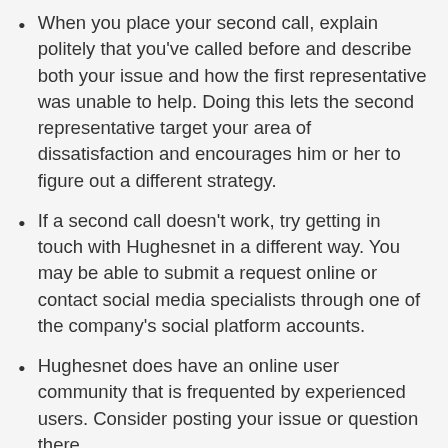When you place your second call, explain politely that you've called before and describe both your issue and how the first representative was unable to help. Doing this lets the second representative target your area of dissatisfaction and encourages him or her to figure out a different strategy.
If a second call doesn't work, try getting in touch with Hughesnet in a different way. You may be able to submit a request online or contact social media specialists through one of the company's social platform accounts.
Hughesnet does have an online user community that is frequented by experienced users. Consider posting your issue or question there.
If you signed up for Hughesnet through a third-party dealer, you might consider talking to the dealer to see if management can advocate for you.